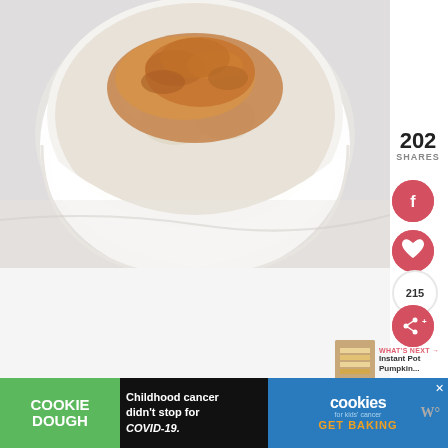[Figure (photo): A white ceramic ramekin filled with creamy rice pudding topped with cinnamon, photographed from above on a marble surface]
202
SHARES
[Figure (infographic): Facebook share button - pink circular button with f icon]
[Figure (infographic): Heart/save button - pink circular button with heart icon]
215
[Figure (infographic): Share button - pink circular button with share icon]
[Figure (infographic): What's Next thumbnail - Instant Pot Pumpkin...]
WHAT'S NEXT → Instant Pot Pumpkin...
[Figure (photo): Advertisement: Cookie Dough - Childhood cancer didn't stop for COVID-19. Cookies for kids cancer - GET BAKING]